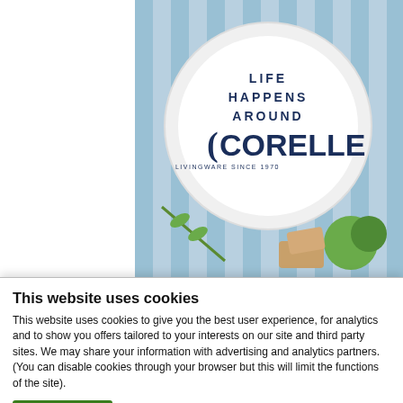[Figure (photo): Corelle brand advertisement image showing a white plate on a blue striped cloth with food items. Text on plate reads 'LIFE HAPPENS AROUND CORELLE LIVINGWARE SINCE 1970']
★★★★★  4.7 (48)  Write a review
Corelle® Country Cottage Rimmed 10-
This website uses cookies
This website uses cookies to give you the best user experience, for analytics and to show you offers tailored to your interests on our site and third party sites. We may share your information with advertising and analytics partners. (You can disable cookies through your browser but this will limit the functions of the site).
OK   Show details